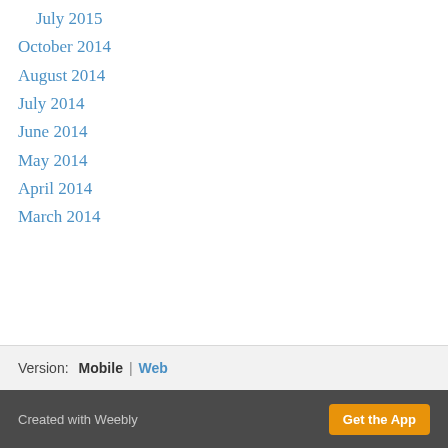July 2015
October 2014
August 2014
July 2014
June 2014
May 2014
April 2014
March 2014
Version: Mobile | Web
Created with Weebly   Get the App